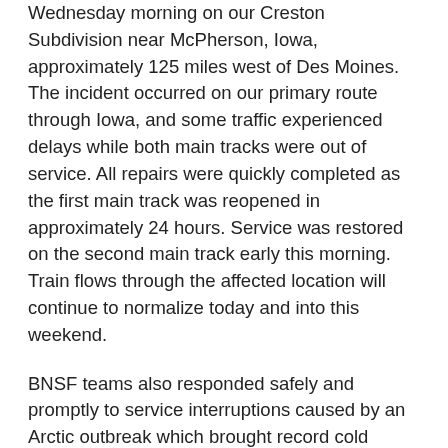Wednesday morning on our Creston Subdivision near McPherson, Iowa, approximately 125 miles west of Des Moines. The incident occurred on our primary route through Iowa, and some traffic experienced delays while both main tracks were out of service. All repairs were quickly completed as the first main track was reopened in approximately 24 hours. Service was restored on the second main track early this morning. Train flows through the affected location will continue to normalize today and into this weekend.
BNSF teams also responded safely and promptly to service interruptions caused by an Arctic outbreak which brought record cold temperatures to many areas of the network. Some train restrictions were implemented in parts of the Northern Plains where temperatures dropped well below zero on Tuesday. Crews also addressed track and signal issues in a few locations affected by the extreme cold.